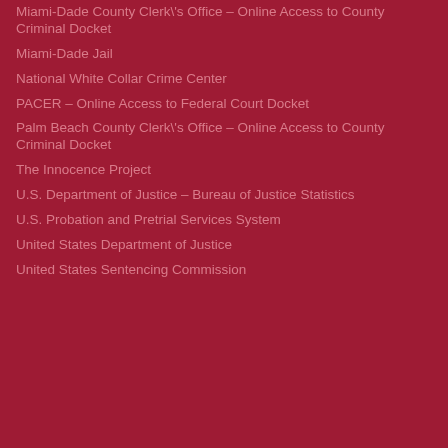Miami-Dade County Clerk's Office – Online Access to County Criminal Docket
Miami-Dade Jail
National White Collar Crime Center
PACER – Online Access to Federal Court Docket
Palm Beach County Clerk's Office – Online Access to County Criminal Docket
The Innocence Project
U.S. Department of Justice – Bureau of Justice Statistics
U.S. Probation and Pretrial Services System
United States Department of Justice
United States Sentencing Commission